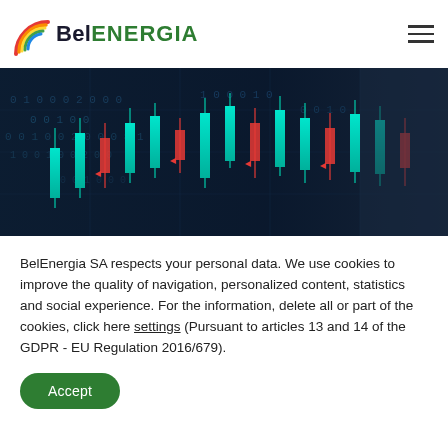[Figure (logo): BelEnergia logo with rainbow arc graphic and text 'BelENERGIA']
[Figure (photo): Dark blue financial candlestick chart with binary code numbers in the background and glowing teal/green candlestick bars]
BelEnergia SA respects your personal data. We use cookies to improve the quality of navigation, personalized content, statistics and social experience. For the information, delete all or part of the cookies, click here settings (Pursuant to articles 13 and 14 of the GDPR - EU Regulation 2016/679).
Accept